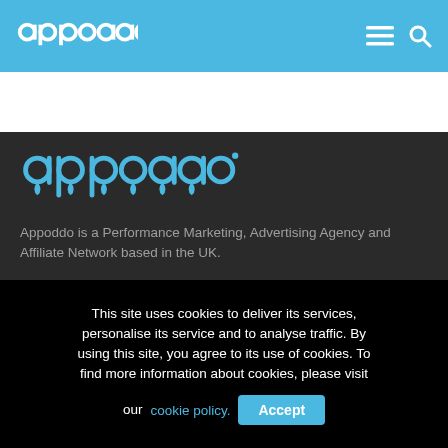appoddo [logo] ≡ 🔍
[Figure (logo): Appoddo logo in large blue text on dark background]
Appoddo is a Performance Marketing, Advertising Agency and Affiliate Network based in the UK.
This site uses cookies to deliver its services, personalise its service and to analyse traffic. By using this site, you agree to its use of cookies. To find more information about cookies, please visit our cookie policy.